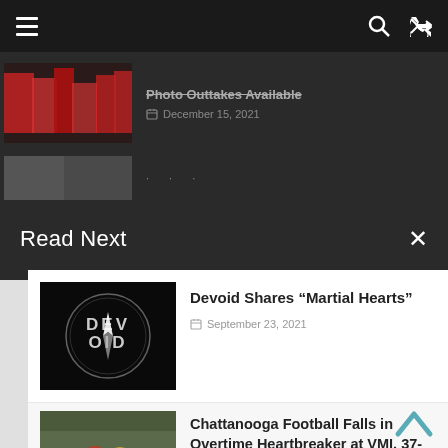Navigation bar with hamburger menu, search and shuffle icons
[Figure (screenshot): Thumbnail image of people in red clothing on a street]
Photo Outtakes Available
December 15, 2021
[Figure (photo): Partial thumbnail of second article]
Read Next
[Figure (logo): DEVOID logo on black background with silver circle and lightning bolt]
Devoid Shares “Martial Hearts”
September 23, 2021
[Figure (photo): Football game action photo with players in gold and red uniforms]
Chattanooga Football Falls in Overtime Heartbreaker at VMI, 37-34
October 9, 2021